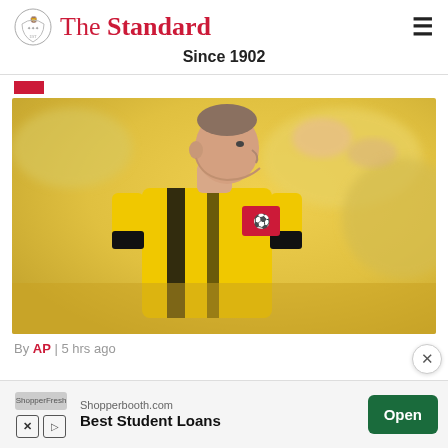The Standard — Since 1902
[Figure (photo): A Borussia Dortmund footballer in yellow and black kit with Bundesliga badge, side profile, with blurred yellow crowd background]
By AP | 5 hrs ago
[Figure (other): Advertisement banner: Shopperbooth.com — Best Student Loans — Open button]